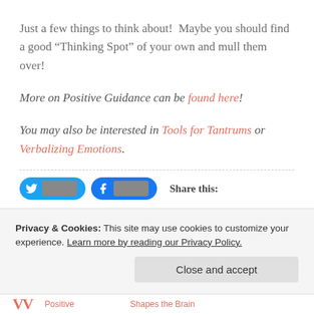Just a few things to think about!  Maybe you should find a good “Thinking Spot” of your own and mull them over!
More on Positive Guidance can be found here!
You may also be interested in Tools for Tantrums or Verbalizing Emotions.
Share this:
Privacy & Cookies: This site may use cookies to customize your experience. Learn more by reading our Privacy Policy.
Close and accept
Positive   Shapes the Brain